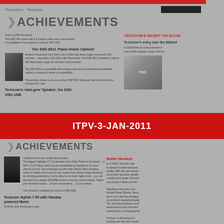[Figure (screenshot): Scanned magazine page showing Techcom Achievements article with red bar at top, logo, articles about SSD 6011 Piano-finish Cabinet and Techcom's INCEPT TELECOM entry into the market. Includes images of computer cabinet and people at press conference.]
ITPV-3-JAN-2011
[Figure (screenshot): Scanned magazine page showing Techcom Achievements article about T-21 and T-55 mobile handsets with Yamaha powered music, including image of mobile phone handset.]